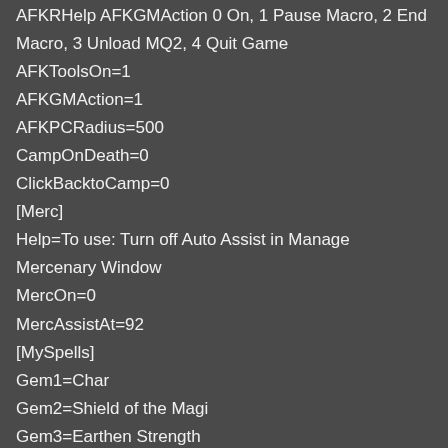AFKRHelp AFKGMAction 0 On, 1 Pause Macro, 2 End Macro, 3 Unload MQ2, 4 Quit Game
AFKToolsOn=1
AFKGMAction=1
AFKPCRadius=500
CampOnDeath=0
ClickBacktoCamp=0
[Merc]
Help=To use: Turn off Auto Assist in Manage Mercenary Window
MercOn=0
MercAssistAt=92
[MySpells]
Gem1=Char
Gem2=Shield of the Magi
Gem3=Earthen Strength
Gem4=Call of the Hero
Gem5=Elemental Cloak
Gem6=Burnout IV